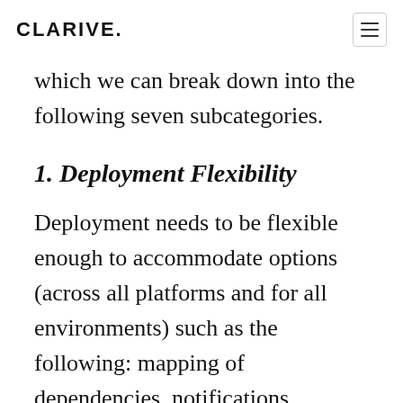CLARIVe
which we can break down into the following seven subcategories.
1. Deployment Flexibility
Deployment needs to be flexible enough to accommodate options (across all platforms and for all environments) such as the following: mapping of dependencies, notifications, creation of shared components, handling of possible